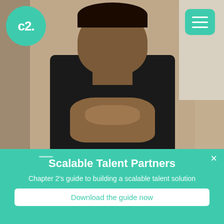[Figure (photo): Screenshot of Chapter 2 website showing a person (Dipuo Sekhoto) in a black t-shirt with hands clasped, with the Chapter 2 logo in top-left and hamburger menu in top-right]
CHAPTER 2 NEWS
Dipuo Sekhoto, Talent Partner at Chapter 2
Hear from the Team
January 28, 2022
Scalable Talent Partners
Chapter 2's guide to building a scalable talent solution
Download the guide now